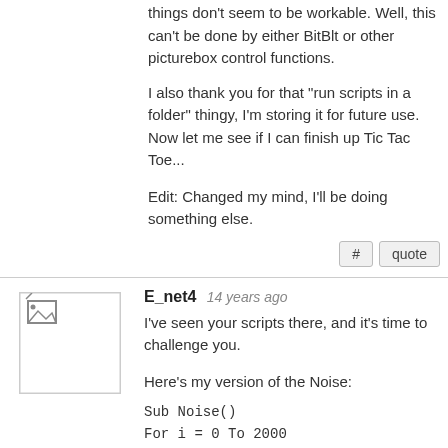things don't seem to be workable. Well, this can't be done by either BitBlt or other picturebox control functions.
I also thank you for that "run scripts in a folder" thingy, I'm storing it for future use.
Now let me see if I can finish up Tic Tac Toe...
Edit: Changed my mind, I'll be doing something else.
E_net4  14 years ago
I've seen your scripts there, and it's time to challenge you.
Here's my version of the Noise:
Sub Noise()
For i = 0 To 2000
Form.Draw from Palette Rnd * 640, Rnd